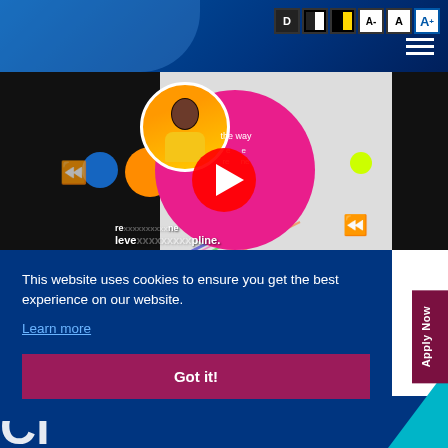[Figure (screenshot): Website screenshot showing accessibility toolbar with D, black/white, yellow/black, A-, A, A+ buttons; dark blue navigation header with hamburger menu; embedded video thumbnail featuring a smiling woman, pink circle, play button, and text 'the way... level of discipline.'; cookie consent overlay banner; Apply Now sidebar button; bottom blue bar with partial large white text.]
This website uses cookies to ensure you get the best experience on our website.
Learn more
Got it!